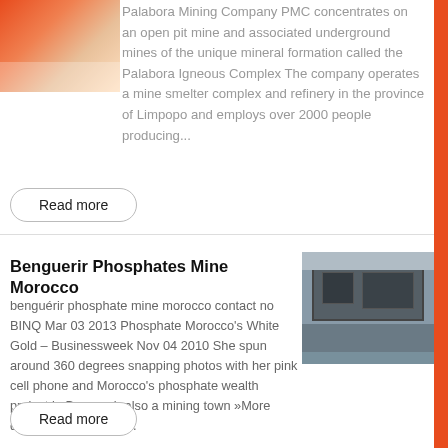[Figure (photo): Partial view of mining-related equipment or minerals, colored red/orange, top-left of page]
Palabora Mining Company PMC concentrates on an open pit mine and associated underground mines of the unique mineral formation called the Palabora Igneous Complex The company operates a mine smelter complex and refinery in the province of Limpopo and employs over 2000 people producing...
Read more
Benguerir Phosphates Mine Morocco
benguerir phosphate mine morocco contact no BINQ Mar 03 2013 Phosphate Morocco's White Gold – Businessweek Nov 04 2010 She spun around 360 degrees snapping photos with her pink cell phone and Morocco's phosphate wealth project in Benguerir also a mining town »More detailed Online Chat...
[Figure (photo): Industrial machine or mining equipment inside a factory or warehouse building]
Read more